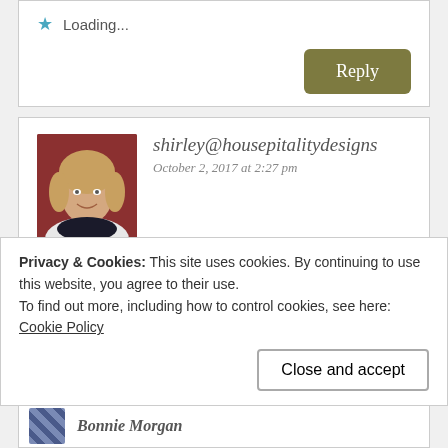Loading...
Reply
shirley@housepitalitydesigns
October 2, 2017 at 2:27 pm
Oh my!!...this looks amazing!!! What a great Fall dessert for us Pumpkin lovers!
Privacy & Cookies: This site uses cookies. By continuing to use this website, you agree to their use.
To find out more, including how to control cookies, see here:
Cookie Policy
Close and accept
Bonnie Morgan